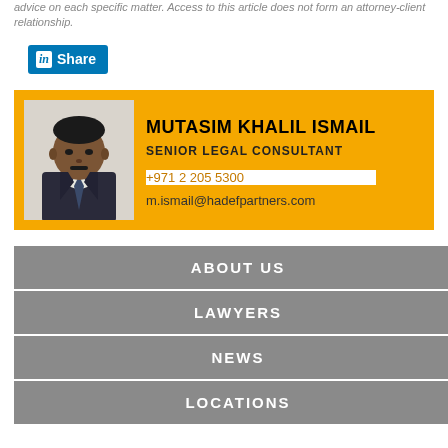advice on each specific matter. Access to this article does not form an attorney-client relationship.
[Figure (other): LinkedIn Share button]
[Figure (photo): Profile card for Mutasim Khalil Ismail, Senior Legal Consultant. Phone: +971 2 205 5300. Email: m.ismail@hadefpartners.com]
ABOUT US
LAWYERS
NEWS
LOCATIONS